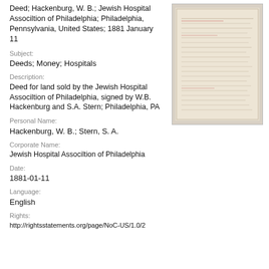Deed; Hackenburg, W. B.; Jewish Hospital Associltion of Philadelphia; Philadelphia, Pennsylvania, United States; 1881 January 11
Subject:
Deeds; Money; Hospitals
Description:
Deed for land sold by the Jewish Hospital Associltion of Philadelphia, signed by W.B. Hackenburg and S.A. Stern; Philadelphia, PA
[Figure (photo): Thumbnail image of a handwritten historical deed document on aged paper with cursive script.]
Personal Name:
Hackenburg, W. B.; Stern, S. A.
Corporate Name:
Jewish Hospital Associltion of Philadelphia
Date:
1881-01-11
Language:
English
Rights:
http://rightsstatements.org/page/NoC-US/1.0/2